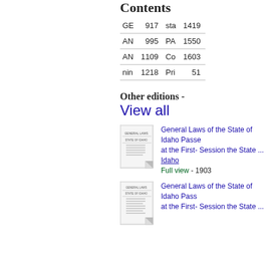Contents
| GE | 917 | sta | 1419 |
| AN | 995 | PA | 1550 |
| AN | 1109 | Co | 1603 |
| nin | 1218 | Pri | 51 |
Other editions -
View all
[Figure (illustration): Thumbnail of book cover for General Laws of the State of Idaho (1903 edition)]
General Laws of the State of Idaho Passed at the First- Session the State ...
Idaho
Full view - 1903
[Figure (illustration): Thumbnail of book cover for General Laws of the State of Idaho (another edition)]
General Laws of the State of Idaho Passed at the First- Session the State ...